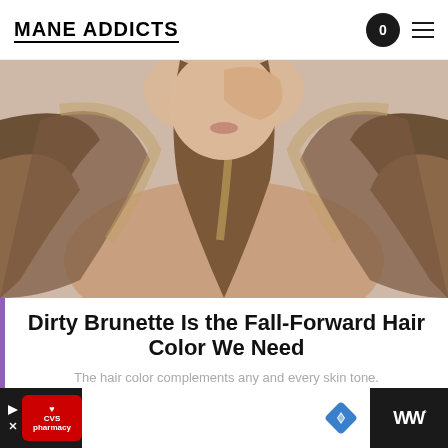MANE ADDICTS
[Figure (photo): Woman with long, wavy dirty brunette hair with highlights, arm raised, neutral background]
Dirty Brunette Is the Fall-Forward Hair Color We Need
The hair color complements any and every skin tone.
Read More...
[Figure (other): Advertisement bar with CVS Pharmacy logo, navigation arrow icon, and WW logo on dark background]